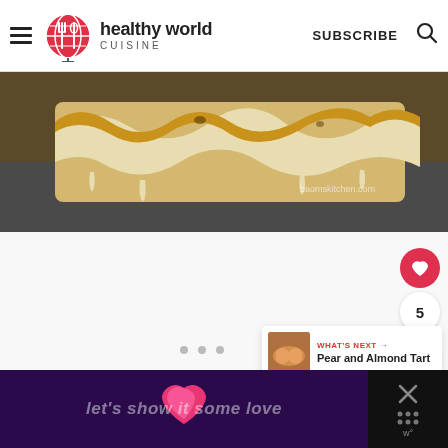[Figure (logo): Healthy World Cuisine logo with globe icon, hamburger menu, SUBSCRIBE text, and search icon]
[Figure (photo): Close-up photo of baked pastry or bread with golden brown crust and melted cheese, with watermark baomskitchen.com]
[Figure (infographic): White content area with red heart/like button showing 5 likes, share button, three gray dots for pagination, and What's Next card showing Pear and Almond Tart]
WHAT'S NEXT → Pear and Almond Tart
[Figure (screenshot): Black and purple advertisement banner with heart graphic and text: let's show it some love, with close X button on right]